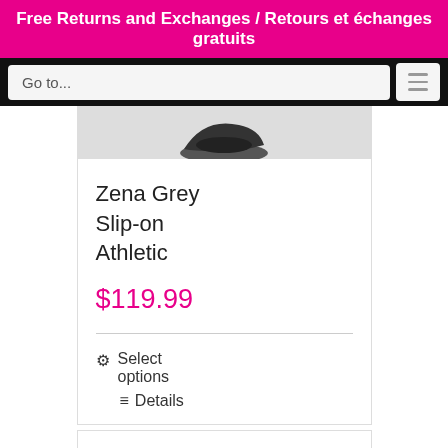Free Returns and Exchanges / Retours et échanges gratuits
Go to...
Zena Grey Slip-on Athletic
$119.99
⚙ Select options
☰ Details
[Figure (photo): Dark athletic slip-on shoe (New Balance style) shown from side angle at bottom of page]